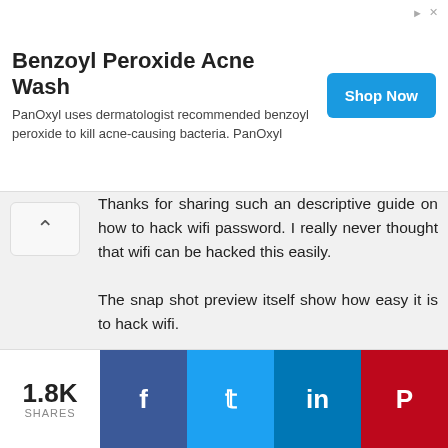[Figure (screenshot): Advertisement banner for Benzoyl Peroxide Acne Wash by PanOxyl with a 'Shop Now' button]
Thanks for sharing such an descriptive guide on how to hack wifi password. I really never thought that wifi can be hacked this easily.

The snap shot preview itself show how easy it is to hack wifi.

I had shared this post with my social media friends and also wanted to recommend your users to must try this tool :)

Thanks once again :)
1.8K SHARES  [Facebook] [Twitter] [LinkedIn] [Pinterest]